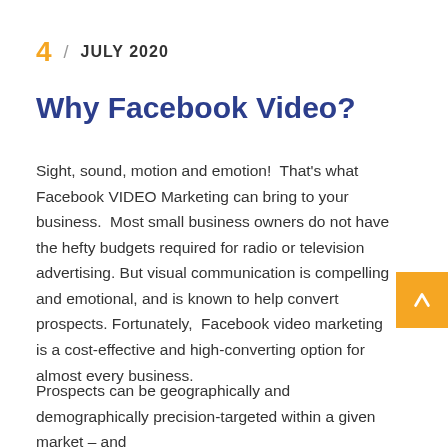4 / JULY 2020
Why Facebook Video?
Sight, sound, motion and emotion!  That's what Facebook VIDEO Marketing can bring to your business.  Most small business owners do not have the hefty budgets required for radio or television advertising. But visual communication is compelling and emotional, and is known to help convert prospects. Fortunately,  Facebook video marketing is a cost-effective and high-converting option for almost every business.
Prospects can be geographically and demographically precision-targeted within a given market – and